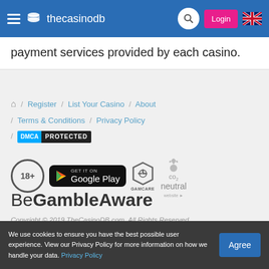thecasinodb
payment services provided by each casino.
Home / Register / List Your Casino / About / Terms & Conditions / Privacy Policy / DMCA PROTECTED
[Figure (logo): 18+ age badge, Google Play badge, GamCare logo, CO2 neutral website badge]
BeGambleAware
Copyright © 2019 TheCasinoDB.com. All Rights Reserved.
We use cookies to ensure you have the best possible user experience. View our Privacy Policy for more information on how we handle your data. Privacy Policy